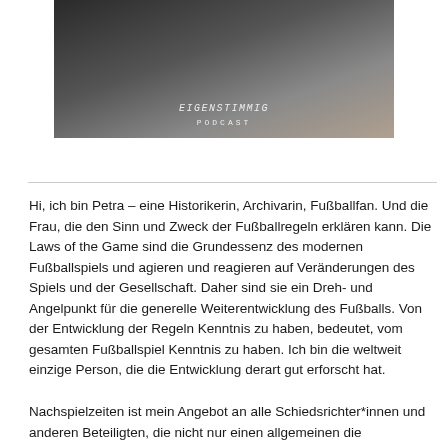[Figure (photo): Photo of a woman (Petra) sitting at a table, wearing a dark top, with the text 'EIGENSTIMMIG PODCAST' overlaid on the image]
Hi, ich bin Petra – eine Historikerin, Archivarin, Fußballfan. Und die Frau, die den Sinn und Zweck der Fußballregeln erklären kann. Die Laws of the Game sind die Grundessenz des modernen Fußballspiels und agieren und reagieren auf Veränderungen des Spiels und der Gesellschaft. Daher sind sie ein Dreh- und Angelpunkt für die generelle Weiterentwicklung des Fußballs. Von der Entwicklung der Regeln Kenntnis zu haben, bedeutet, vom gesamten Fußballspiel Kenntnis zu haben. Ich bin die weltweit einzige Person, die die Entwicklung derart gut erforscht hat.
Nachspielzeiten ist mein Angebot an alle Schiedsrichter*innen und andere Beteiligte, die nicht nur einen allgemeinen die...